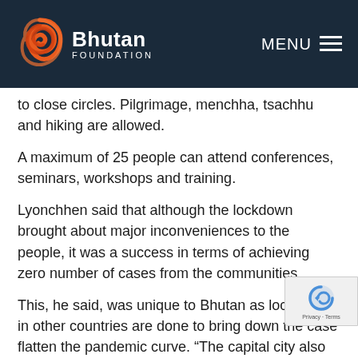Bhutan Foundation — MENU
to close circles. Pilgrimage, menchha, tsachhu and hiking are allowed.
A maximum of 25 people can attend conferences, seminars, workshops and training.
Lyonchhen said that although the lockdown brought about major inconveniences to the people, it was a success in terms of achieving zero number of cases from the communities.
This, he said, was unique to Bhutan as lockdowns in other countries are done to bring down the case flatten the pandemic curve. “The capital city also managed to test every household twice, a major feat